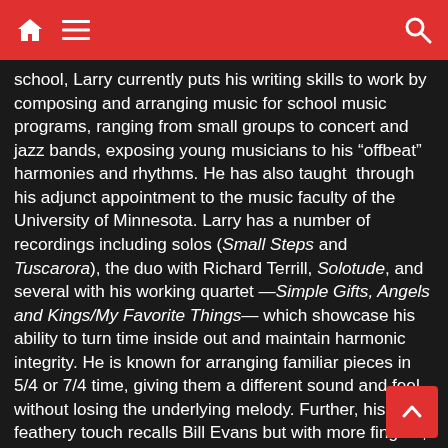[Navigation bar with home, menu, and search icons]
school, Larry currently puts his writing skills to work by composing and arranging music for school music programs, ranging from small groups to concert and jazz bands, exposing young musicians to his “offbeat” harmonies and rhythms. He has also taught  through his adjunct appointment to the music faculty of the University of Minnesota. Larry has a number of recordings including solos (Small Steps and Tuscarora), the duo with Richard Terrill, Solotude, and several with his working quartet —Simple Gifts, Angels and Kings/My Favorite Things— which showcase his ability to turn time inside out and maintain harmonic integrity. He is known for arranging familiar pieces in 5/4 or 7/4 time, giving them a different sound and feel without losing the underlying melody. Further, his feathery touch recalls Bill Evans but with more fingers; his left hand alternately propels and sings; his dazzling two-handed runs display clear articulation from every digit.